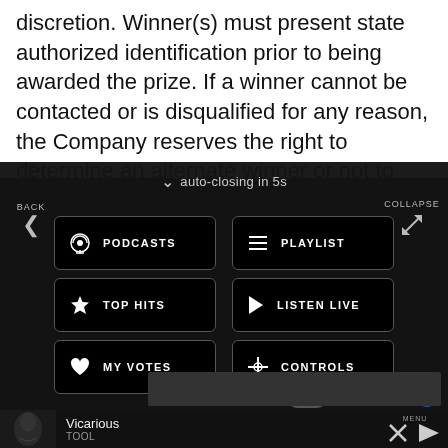discretion. Winner(s) must present state authorized identification prior to being awarded the prize. If a winner cannot be contacted or is disqualified for any reason, the Company reserves the right to determine an alternate winner or not to award that winner's prize, in its sole
[Figure (screenshot): Mobile app navigation overlay showing auto-closing panel with buttons: PODCASTS, PLAYLIST, TOP HITS, LISTEN LIVE, MY VOTES, CONTROLS, with BACK and COLLAPSE arrows, a Data opt-out toggle, and a media player at the bottom showing Vicarious by TOOL with MENU, X, and play controls.]